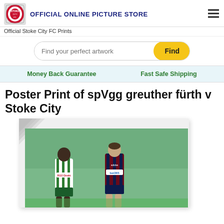OFFICIAL ONLINE PICTURE STORE
Official Stoke City FC Prints
Find your perfect artwork
Money Back Guarantee   Fast Safe Shipping
Poster Print of spVgg greuther fürth v Stoke City
[Figure (photo): Two football players on a pitch — one in a green and white striped kit with 'RGO Direkt' sponsor, another in a dark red/navy Stoke City kit with 'bet365' sponsor. Green stadium seats visible in background.]